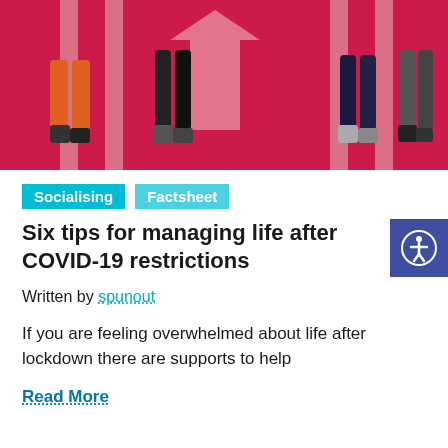[Figure (illustration): Illustration of people walking on a red background with downward arrows and pedestrian crossing lines, viewed from above at ankle/leg level.]
Socialising  Factsheet
Six tips for managing life after COVID-19 restrictions
Written by spunout
If you are feeling overwhelmed about life after lockdown there are supports to help
Read More